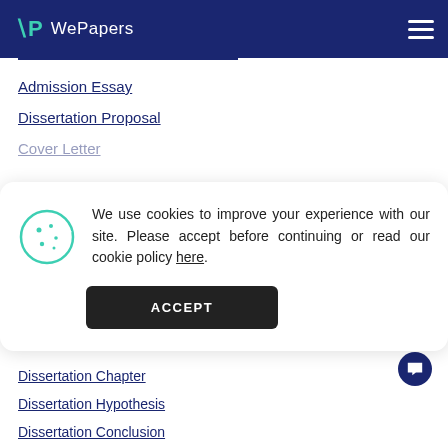WePapers
Admission Essay
Dissertation Proposal
Cover Letter
We use cookies to improve your experience with our site. Please accept before continuing or read our cookie policy here.
Dissertation Chapter
Dissertation Hypothesis
Dissertation Conclusion